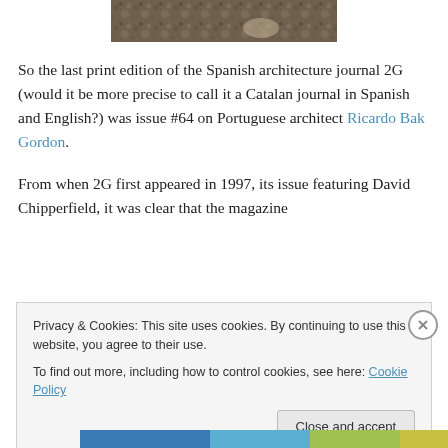[Figure (photo): Partial photograph of a rocky/gravelly ground surface, cropped at top]
So the last print edition of the Spanish architecture journal 2G (would it be more precise to call it a Catalan journal in Spanish and English?) was issue #64 on Portuguese architect Ricardo Bak Gordon.
From when 2G first appeared in 1997, its issue featuring David Chipperfield, it was clear that the magazine
Privacy & Cookies: This site uses cookies. By continuing to use this website, you agree to their use.
To find out more, including how to control cookies, see here: Cookie Policy
Close and accept